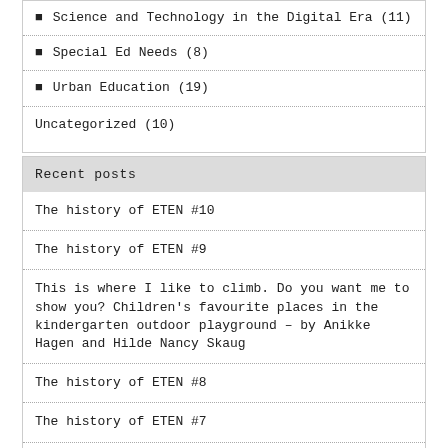Science and Technology in the Digital Era (11)
Special Ed Needs (8)
Urban Education (19)
Uncategorized (10)
Recent posts
The history of ETEN #10
The history of ETEN #9
This is where I like to climb. Do you want me to show you? Children's favourite places in the kindergarten outdoor playground – by Anikke Hagen and Hilde Nancy Skaug
The history of ETEN #8
The history of ETEN #7
The agenda – Liepaja ECO/TIG/CO-TIG leader meeting